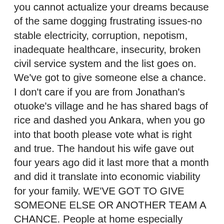you cannot actualize your dreams because of the same dogging frustrating issues-no stable electricity, corruption, nepotism, inadequate healthcare, insecurity, broken civil service system and the list goes on. We've got to give someone else a chance. I don't care if you are from Jonathan's otuoke's village and he has shared bags of rice and dashed you Ankara, when you go into that booth please vote what is right and true. The handout his wife gave out four years ago did it last more that a month and did it translate into economic viability for your family. WE'VE GOT TO GIVE SOMEONE ELSE OR ANOTHER TEAM A CHANCE. People at home especially should help by taking this CHANGE campaign to SM. We need everyone's hand on deck. It starts with me-I WILL BE COMING HOME TO HELP FOR A FEW MONTHS. We (the bright, enlightened and spirited) should put religion and ethnicity aside just this one time and TAKE BACK OUR COUNTRY. We have all commented here in BN and on so many other SM forums everytime we